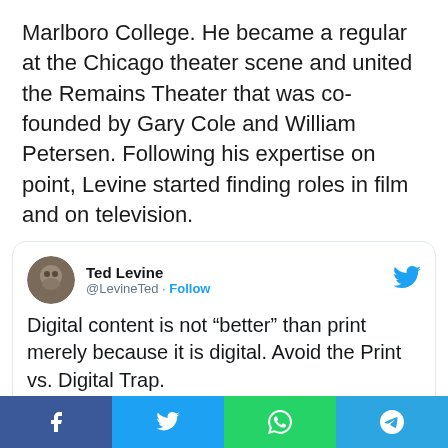Marlboro College. He became a regular at the Chicago theater scene and united the Remains Theater that was co-founded by Gary Cole and William Petersen. Following his expertise on point, Levine started finding roles in film and on television.
[Figure (screenshot): Embedded tweet from Ted Levine (@LevineTed) with text: 'Digital content is not “better” than print merely because it is digital. Avoid the Print vs. Digital Trap.' Contains a nested quoted tweet from Alice Keeler (@alicekeeler) with a Follow button and partial text: 'It’s not a moral decision to use paper. If']
Facebook | Twitter | WhatsApp | Telegram share buttons